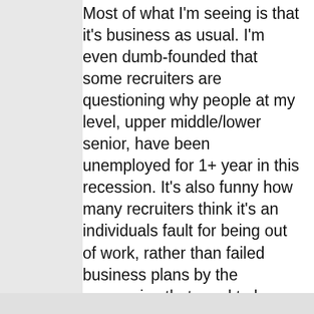Most of what I'm seeing is that it's business as usual. I'm even dumb-founded that some recruiters are questioning why people at my level, upper middle/lower senior, have been unemployed for 1+ year in this recession. It's also funny how many recruiters think it's an individuals fault for being out of work, rather than failed business plans by the companies that used to be our employers. Plus most recruiters have no real sense of what the job entails as
[Figure (screenshot): Infolinks advertisement banner for NFL Shop showing a Dallas Cowboys jersey, with text 'NFL Shop', 'Free shipping on orders over $25', 'www.nflshop.com', a close button (X), and a blue arrow navigation button on the right.]